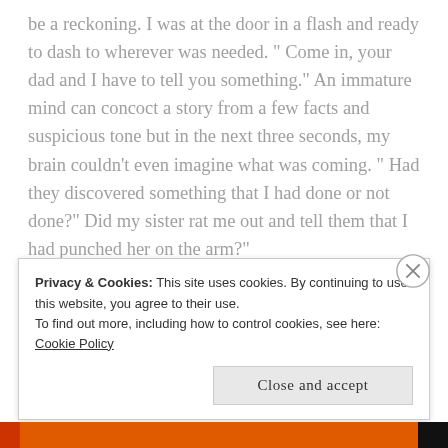be a reckoning. I was at the door in a flash and ready to dash to wherever was needed. " Come in, your dad and I have to tell you something." An immature mind can concoct a story from a few facts and suspicious tone but in the next three seconds, my brain couldn't even imagine what was coming. " Had they discovered something that I had done or not done?" Did my sister rat me out and tell them that I had punched her on the arm?"
Privacy & Cookies: This site uses cookies. By continuing to use this website, you agree to their use.
To find out more, including how to control cookies, see here: Cookie Policy
Close and accept